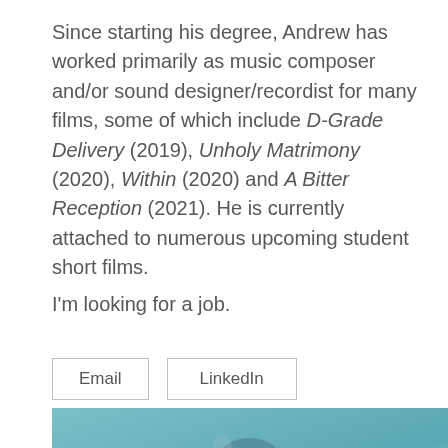Since starting his degree, Andrew has worked primarily as music composer and/or sound designer/recordist for many films, some of which include D-Grade Delivery (2019), Unholy Matrimony (2020), Within (2020) and A Bitter Reception (2021). He is currently attached to numerous upcoming student short films.
I'm looking for a job.
Email   LinkedIn
[Figure (photo): Close-up photo of a microphone (blue/teal tones) with a hexagonal mesh grille pattern, cropped at bottom of page]